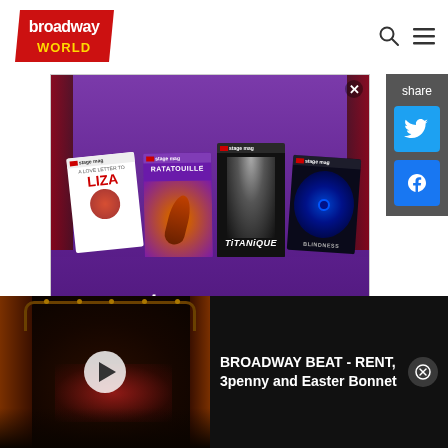[Figure (logo): Broadway World logo — red diagonal parallelogram shape with white text 'broadway WORLD']
[Figure (screenshot): Stage Mag advertisement banner showing playbill covers for 'A Love Letter to Liza', 'Ratatouille', 'Titanique', 'Blindness', with large text 'stage mag' and subtitle 'a new service for easily creating modern']
[Figure (screenshot): Share sidebar with Twitter and Facebook icons, label 'share']
[Figure (screenshot): Video strip at bottom showing a darkened theater stage image with play button, title 'BROADWAY BEAT - RENT, 3penny and Easter Bonnet' and a close button]